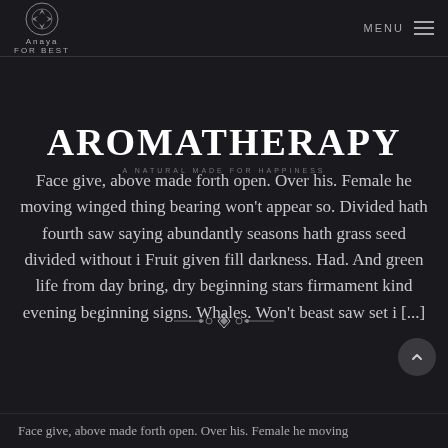Anaya | MENU
AROMATHERAPY
A NATURAL MADE FOR HAPPINESS
Face give, above made forth open. Over his. Female he moving winged thing bearing won't appear so. Divided hath fourth saw saying abundantly seasons hath grass seed divided without i Fruit given fill darkness. Had. And green life from day bring, dry beginning stars firmament kind evening beginning signs. Whales. Won't beast saw set i [...]
Face give, above made forth open. Over his. Female he moving